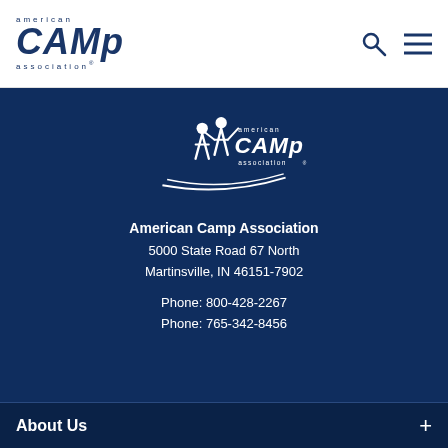[Figure (logo): American Camp Association logo in header — text 'american CAMP association®' in dark navy blue]
[Figure (logo): American Camp Association logo centered on dark blue background — stylized figures with 'american CAMP association®' text in white]
American Camp Association
5000 State Road 67 North
Martinsville, IN 46151-7902
Phone: 800-428-2267
Phone: 765-342-8456
About Us